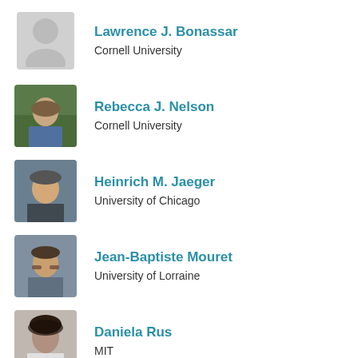Lawrence J. Bonassar
Cornell University
Rebecca J. Nelson
Cornell University
Heinrich M. Jaeger
University of Chicago
Jean-Baptiste Mouret
University of Lorraine
Daniela Rus
MIT
Ashutosh Saxena
Cornell University